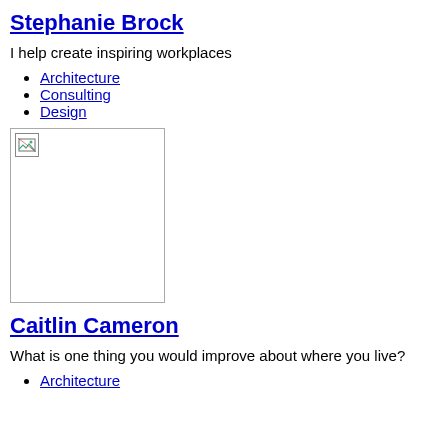Stephanie Brock
I help create inspiring workplaces
Architecture
Consulting
Design
[Figure (photo): Broken/missing image placeholder, approximately 155x175px with a small broken image icon in the top-left corner]
Caitlin Cameron
What is one thing you would improve about where you live?
Architecture